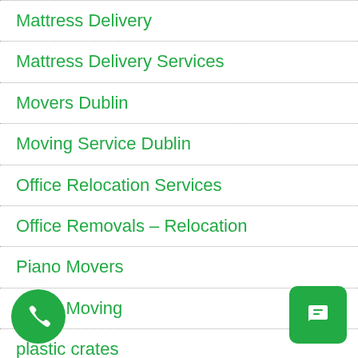Mattress Delivery
Mattress Delivery Services
Movers Dublin
Moving Service Dublin
Office Relocation Services
Office Removals – Relocation
Piano Movers
Piano Moving
plastic crates
Professional Moving Companies
…ocation Services